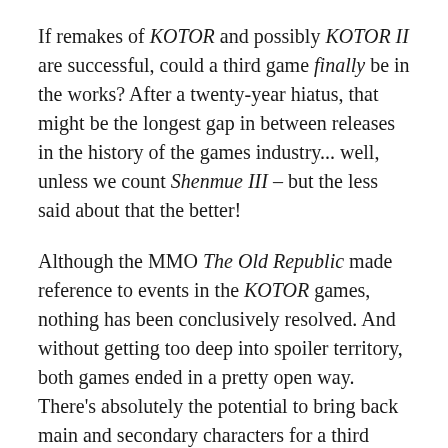If remakes of KOTOR and possibly KOTOR II are successful, could a third game finally be in the works? After a twenty-year hiatus, that might be the longest gap in between releases in the history of the games industry... well, unless we count Shenmue III – but the less said about that the better!
Although the MMO The Old Republic made reference to events in the KOTOR games, nothing has been conclusively resolved. And without getting too deep into spoiler territory, both games ended in a pretty open way. There's absolutely the potential to bring back main and secondary characters for a third entry... so I guess we'll have to watch this space.
So that's it!